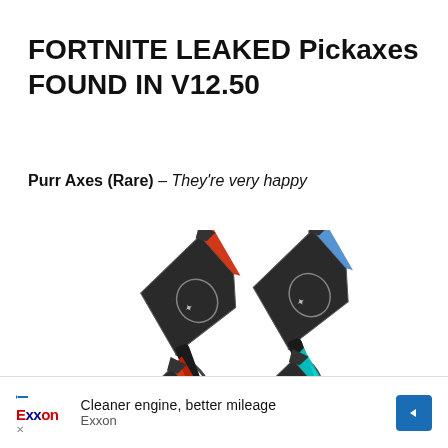FORTNITE LEAKED Pickaxes FOUND IN V12.50
Purr Axes (Rare) – They're very happy
[Figure (photo): Four ornate dark axe/pickaxe weapons arranged in a diagonal pattern against a white background. The axes have decorative metallic designs with colored accents — two upper axes with red and blue trims, and two lower axes with red and teal trims.]
Cleaner engine, better mileage Exxon